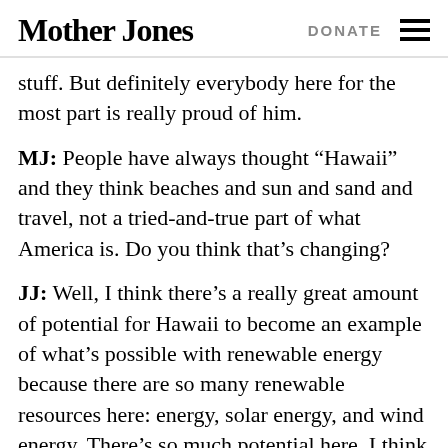Mother Jones | DONATE
stuff. But definitely everybody here for the most part is really proud of him.
MJ: People have always thought “Hawaii” and they think beaches and sun and sand and travel, not a tried-and-true part of what America is. Do you think that’s changing?
JJ: Well, I think there’s a really great amount of potential for Hawaii to become an example of what’s possible with renewable energy because there are so many renewable resources here: energy, solar energy, and wind energy. There’s so much potential here. I think it’s just beginning, and I hope that it will get better, where it’s really going to be an